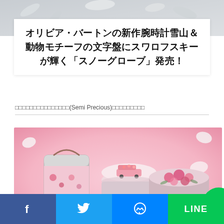[Figure (photo): Top decorative photo area with light gray/white background showing partial decorative elements]
オリビア・バートンの新作腕時計雪山＆動物モチーフの文字盤にスワロフスキーが輝く「スノーグローブ」発売！
□□□□□□□□□□□□□□□□(Semi Precious)□□□□□□□□□
[Figure (photo): Photo of decorative round pink tin containers/bento boxes with floral patterns and pink flower arrangements on a pink background with white roses]
Facebook Twitter Messenger LINE